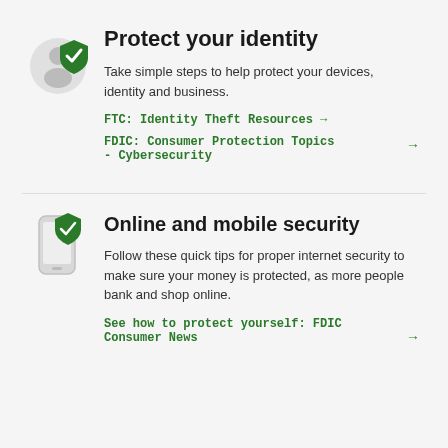Protect your identity
Take simple steps to help protect your devices, identity and business.
FTC: Identity Theft Resources →
FDIC: Consumer Protection Topics - Cybersecurity →
Online and mobile security
Follow these quick tips for proper internet security to make sure your money is protected, as more people bank and shop online.
See how to protect yourself: FDIC Consumer News →